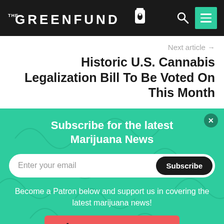THE GREENFUND
Next article →
Historic U.S. Cannabis Legalization Bill To Be Voted On This Month
Subscribe for the latest Marijuana News
Enter your email  Subscribe
Become a Patron below and support us in covering the latest marijuana news!
Become a patron